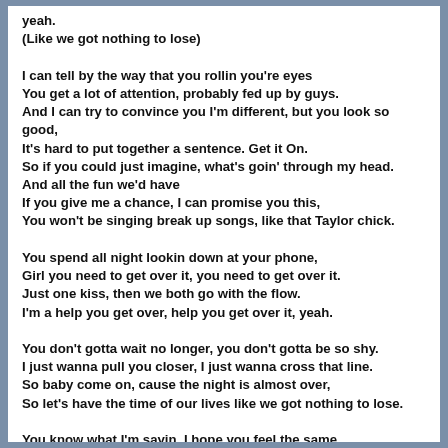yeah.
(Like we got nothing to lose)

I can tell by the way that you rollin you're eyes
You get a lot of attention, probably fed up by guys.
And I can try to convince you I'm different, but you look so good,
It's hard to put together a sentence. Get it On.
So if you could just imagine, what's goin' through my head.
And all the fun we'd have
If you give me a chance, I can promise you this,
You won't be singing break up songs, like that Taylor chick.

You spend all night lookin down at your phone,
Girl you need to get over it, you need to get over it.
Just one kiss, then we both go with the flow.
I'm a help you get over, help you get over it, yeah.

You don't gotta wait no longer, you don't gotta be so shy.
I just wanna pull you closer, I just wanna cross that line.
So baby come on, cause the night is almost over,
So let's have the time of our lives like we got nothing to lose.

You know what I'm sayin, I hope you feel the same.
(Like we got nothing to lose)